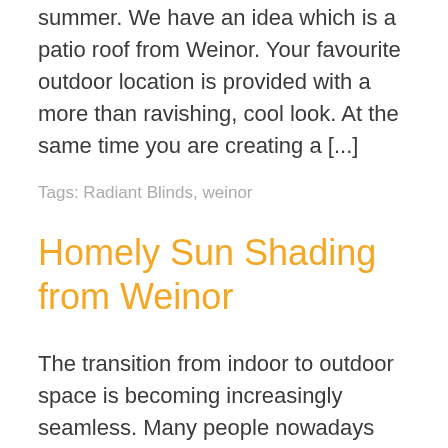summer. We have an idea which is a patio roof from Weinor.  Your favourite outdoor location is provided with a more than ravishing, cool look.  At the same time you are creating a [...]
Tags: Radiant Blinds, weinor
Homely Sun Shading from Weinor
The transition from indoor to outdoor space is becoming increasingly seamless. Many people nowadays enjoy their patio space as an outdoor living room. A patio roof/glass veranda from Weinor provides elegant and